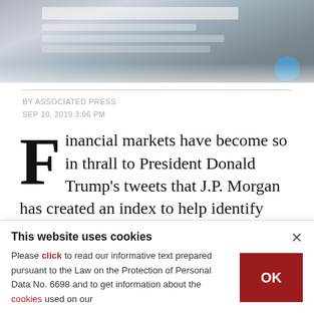[Figure (photo): Blurred photo of a screen showing a Twitter/social media interface, with a keyboard partially visible below.]
BY ASSOCIATED PRESS
SEP 10, 2019 3:06 PM
Financial markets have become so in thrall to President Donald Trump's tweets that J.P. Morgan has created an index to help identify how much volatility they're creating.
This website uses cookies
Please click to read our informative text prepared pursuant to the Law on the Protection of Personal Data No. 6698 and to get information about the cookies used on our